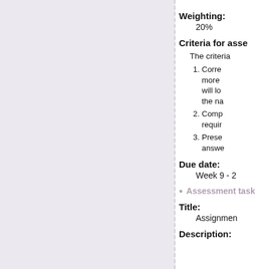Weighting:
20%
Criteria for asse...
The criteria...
1. Corre... more ... will lo... the na...
2. Comp... requir...
3. Prese... answe...
Due date:
Week 9 - 2...
Assessment task...
Title:
Assignmen...
Description: